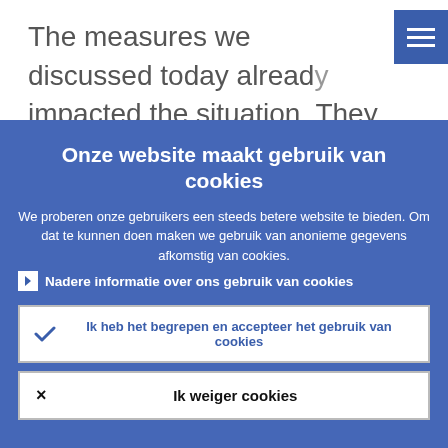The measures we discussed today already impacted the situation. They brought interest rates even lower. They affected the…
Onze website maakt gebruik van cookies
We proberen onze gebruikers een steeds betere website te bieden. Om dat te kunnen doen maken we gebruik van anonieme gegevens afkomstig van cookies.
> Nadere informatie over ons gebruik van cookies
✓ Ik heb het begrepen en accepteer het gebruik van cookies
× Ik weiger cookies